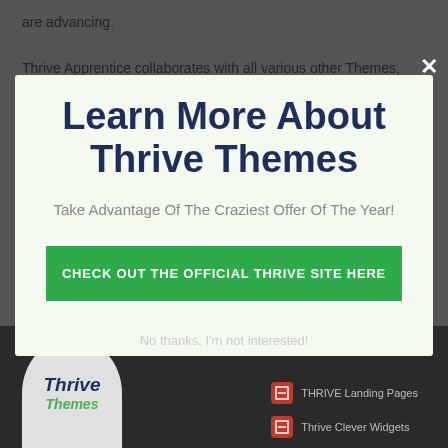are advancing.
Thrive Apprentice collaborates with all various other Themes, and
Learn More About Thrive Themes
Take Advantage Of The Craziest Offer Of The Year!
CHECK OUT THE OFFICIAL THRIVE SITE HERE
No thanks, I'm not interested!